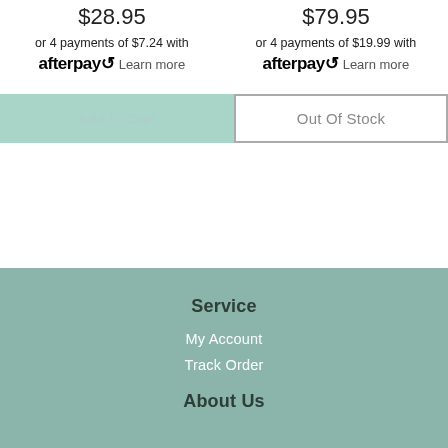$28.95
$79.95
or 4 payments of $7.24 with afterpay Learn more
or 4 payments of $19.99 with afterpay Learn more
Add to Cart
Out Of Stock
Service
My Account
Track Order
About Us